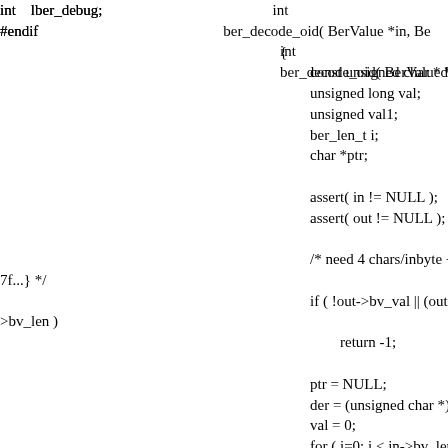int    lber_debug;
#endif


int
ber_decode_oid( BerValue *in, Be
{
        const unsigned char *der;
        unsigned long val;
        unsigned val1;
        ber_len_t i;
        char *ptr;

        assert( in != NULL );
        assert( out != NULL );

        /* need 4 chars/inbyte + \0 fo
7f...} */
        if ( !out->bv_val || (out->bv_l
>bv_len )
                return -1;

        ptr = NULL;
        der = (unsigned char *) in->b
        val = 0;
        for ( i=0; i < in->bv_len; i++
                val |= der[i] & 0x7f;
                if ( !( der[i] & 0x80 )) {
                        if ( ptr == NULL )
                /* Initial"...